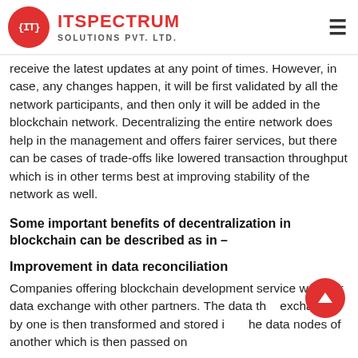ITSPECTRUM SOLUTIONS PVT. LTD.
receive the latest updates at any point of times. However, in case, any changes happen, it will be first validated by all the network participants, and then only it will be added in the blockchain network. Decentralizing the entire network does help in the management and offers fairer services, but there can be cases of trade-offs like lowered transaction throughput which is in other terms best at improving stability of the network as well.
Some important benefits of decentralization in blockchain can be described as in –
Improvement in data reconciliation
Companies offering blockchain development service work for data exchange with other partners. The data that exchanged by one is then transformed and stored into the data nodes of another which is then passed on